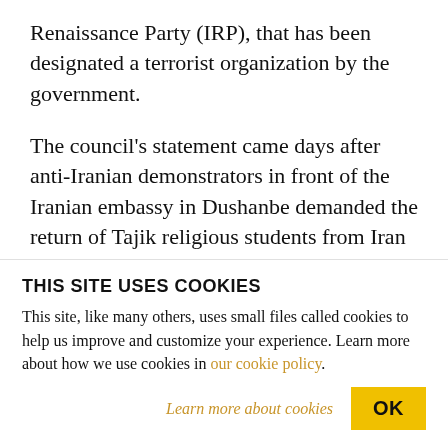Renaissance Party (IRP), that has been designated a terrorist organization by the government.
The council's statement came days after anti-Iranian demonstrators in front of the Iranian embassy in Dushanbe demanded the return of Tajik religious students from Iran and accused the Islamic republic of supporting extremists and planning assassinations.
THIS SITE USES COOKIES
This site, like many others, uses small files called cookies to help us improve and customize your experience. Learn more about how we use cookies in our cookie policy.
Learn more about cookies
OK